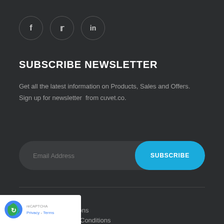[Figure (other): Social media icons: Facebook (f), Twitter (bird icon), LinkedIn (in) in circular bordered buttons]
SUBSCRIBE NEWSLETTER
Get all the latest information on Products, Sales and Offers.
Sign up for newsletter  from cuvet.co.
[Figure (other): Email subscription bar with 'Email Address' placeholder and blue 'SUBSCRIBE' button]
Worldwide Shipping
Returns & Cancellations
...Conditions
...Policy & Cookies
[Figure (other): Google reCAPTCHA badge with logo and 'Privacy - Terms' text]